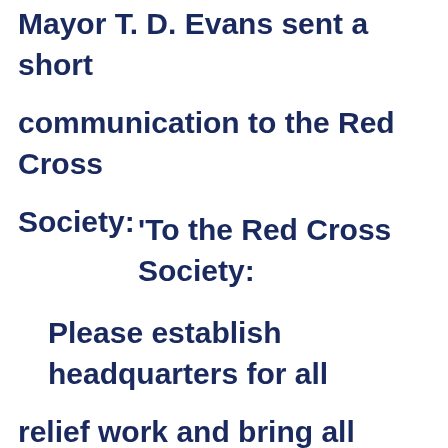Mayor T. D. Evans sent a short communication to the Red Cross Society:
'To the Red Cross Society:

Please establish headquarters for all relief work and bring all organizations who can assist you to your aid. The